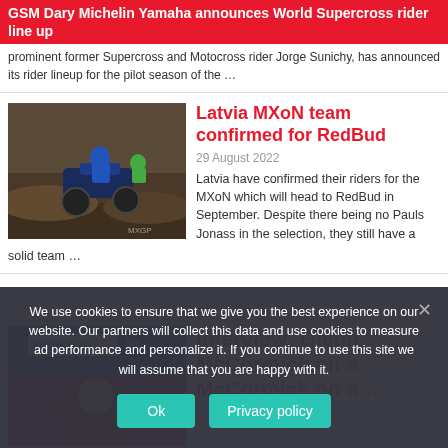GSM Dary Michelin Yamaha announces World Supercross rider line up
prominent former Supercross and Motocross rider Jorge Sunichy, has announced its rider lineup for the pilot season of the ...
Latvia MXoN team confirmed for RedBud
29 August 2022
Latvia have confirmed their riders for the MXoN which will head to RedBud in September. Despite there being no Pauls Jonass in the selection, they still have a solid team ...
Interview: Glenn McCormick on a
We use cookies to ensure that we give you the best experience on our website. Our partners will collect this data and use cookies to measure ad performance and personalize it. If you continue to use this site we will assume that you are happy with it.